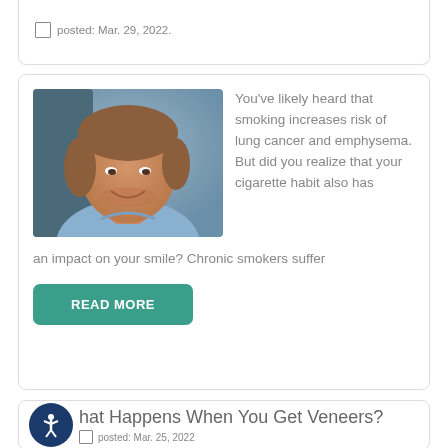posted: Mar. 29, 2022.
[Figure (photo): Smiling middle-aged man with brown hair wearing a light blue shirt]
You've likely heard that smoking increases risk of lung cancer and emphysema. But did you realize that your cigarette habit also has an impact on your smile? Chronic smokers suffer
READ MORE
What Happens When You Get Veneers?
posted: Mar. 25, 2022